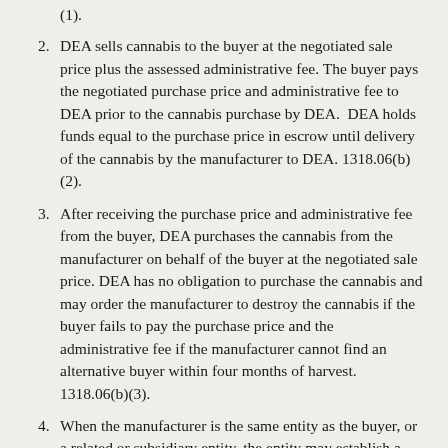(1).
DEA sells cannabis to the buyer at the negotiated sale price plus the assessed administrative fee. The buyer pays the negotiated purchase price and administrative fee to DEA prior to the cannabis purchase by DEA.  DEA holds funds equal to the purchase price in escrow until delivery of the cannabis by the manufacturer to DEA. 1318.06(b)(2).
After receiving the purchase price and administrative fee from the buyer, DEA purchases the cannabis from the manufacturer on behalf of the buyer at the negotiated sale price. DEA has no obligation to purchase the cannabis and may order the manufacturer to destroy the cannabis if the buyer fails to pay the purchase price and the administrative fee if the manufacturer cannot find an alternative buyer within four months of harvest. 1318.06(b)(3).
When the manufacturer is the same entity as the buyer, or a related or subsidiary entity, the entity may establish a nominal cannabis purchase price. DEA purchases the entity's cannabis at that price and sells the cannabis back